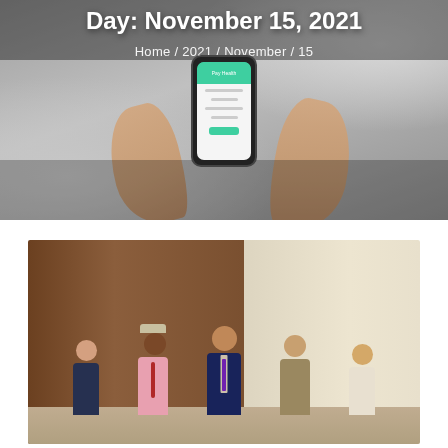Day: November 15, 2021
Home / 2021 / November / 15
[Figure (photo): Overhead view of hands holding a smartphone with a green app screen, on a desk with papers]
[Figure (photo): Group photo of five people smiling — one woman and four men, standing together in front of a wood-paneled and marble wall background]